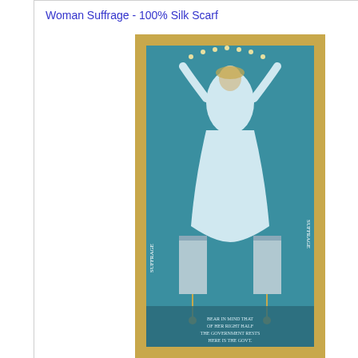Woman Suffrage - 100% Silk Scarf
[Figure (illustration): Art nouveau style illustration of a robed female figure with arms raised, standing on a pedestal, teal and gold color scheme, with text at the bottom]
I Will Vote Mug
[Figure (illustration): Wisconsin Historical Society logo mug - circular design with text COLLECTING, PRESERVING around the edge and Wisconsin Historical Society emblem in center]